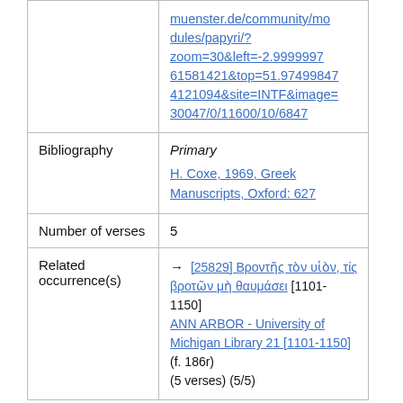|  | muenster.de/community/modules/papyri/?zoom=30&left=-2.999999761581421&top=51.974998474121094&site=INTF&image=30047/0/11600/10/6847 |
| Bibliography | Primary
H. Coxe, 1969, Greek Manuscripts, Oxford: 627 |
| Number of verses | 5 |
| Related occurrence(s) | → [25829] Βροντῆς τὸν υἱὸν, τίς βροτῶν μὴ θαυμάσει [1101-1150] ANN ARBOR - University of Michigan Library 21 [1101-1150] (f. 186r) (5 verses) (5/5) |